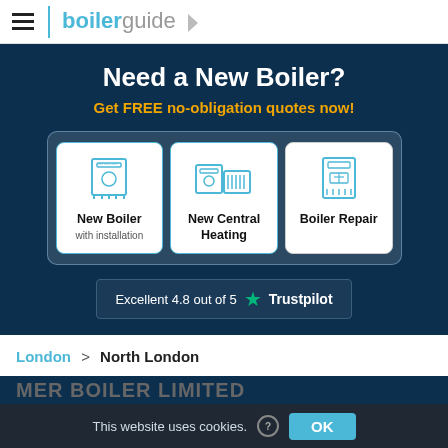boilerguide
Need a New Boiler?
Get FREE no-obligation quotes now!
[Figure (illustration): Three service option cards: New Boiler with installation, New Central Heating, Boiler Repair — each with a line-art icon]
Excellent 4.8 out of 5 ★ Trustpilot
London > North London
For similar companies in this area please visit the Southgate
This website uses cookies. (?) OK